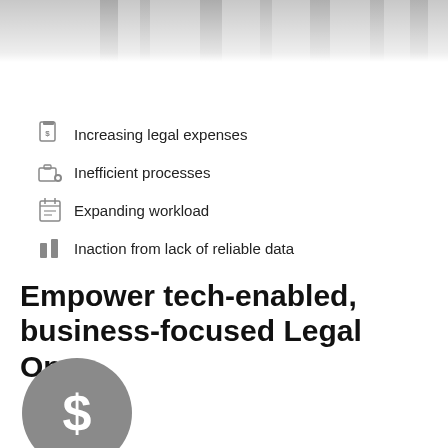[Figure (photo): Partial photo of people in a business/legal setting, cropped at top of page]
Increasing legal expenses
Inefficient processes
Expanding workload
Inaction from lack of reliable data
Empower tech-enabled, business-focused Legal Ops
[Figure (illustration): Gray circle with dollar sign icon]